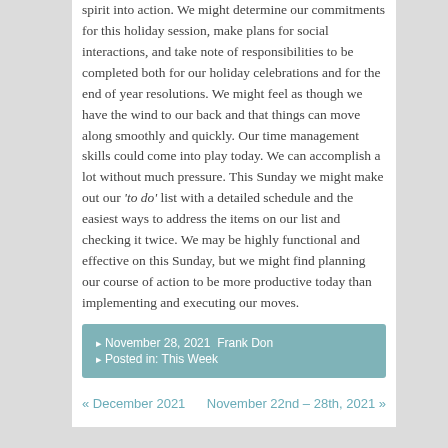spirit into action. We might determine our commitments for this holiday session, make plans for social interactions, and take note of responsibilities to be completed both for our holiday celebrations and for the end of year resolutions. We might feel as though we have the wind to our back and that things can move along smoothly and quickly. Our time management skills could come into play today. We can accomplish a lot without much pressure. This Sunday we might make out our 'to do' list with a detailed schedule and the easiest ways to address the items on our list and checking it twice. We may be highly functional and effective on this Sunday, but we might find planning our course of action to be more productive today than implementing and executing our moves.
November 28, 2021  Frank Don
Posted in: This Week
« December 2021    November 22nd – 28th, 2021 »